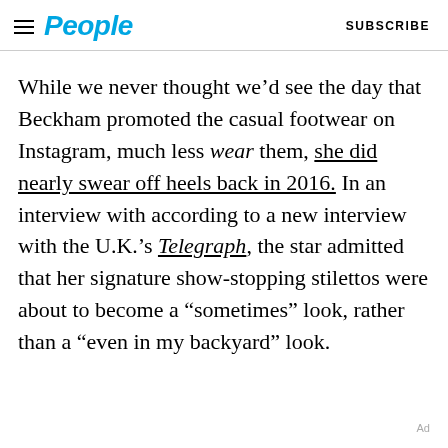People | SUBSCRIBE
While we never thought we’d see the day that Beckham promoted the casual footwear on Instagram, much less wear them, she did nearly swear off heels back in 2016. In an interview with according to a new interview with the U.K.’s Telegraph, the star admitted that her signature show-stopping stilettos were about to become a “sometimes” look, rather than a “even in my backyard” look.
Ad